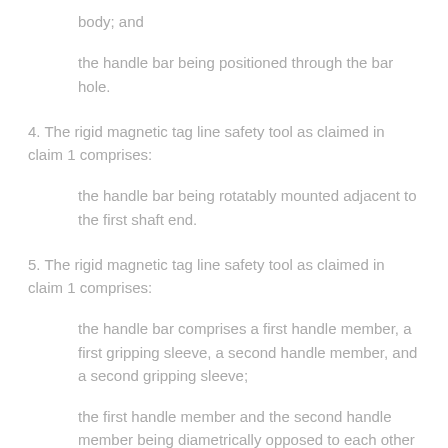body; and
the handle bar being positioned through the bar hole.
4. The rigid magnetic tag line safety tool as claimed in claim 1 comprises:
the handle bar being rotatably mounted adjacent to the first shaft end.
5. The rigid magnetic tag line safety tool as claimed in claim 1 comprises:
the handle bar comprises a first handle member, a first gripping sleeve, a second handle member, and a second gripping sleeve;
the first handle member and the second handle member being diametrically opposed to each other about the electrically insulative shaft;
the first handle member being encircled by the first gripping sleeve;
the second handle member being encircled by the